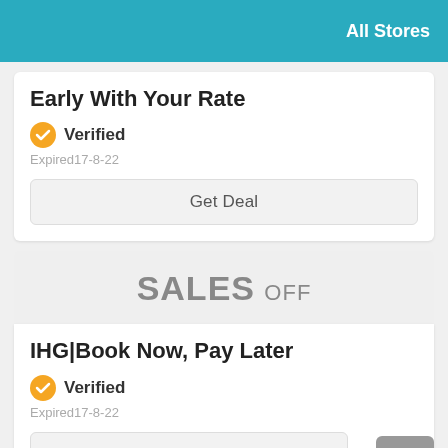All Stores
Early With Your Rate
Verified
Expired17-8-22
Get Deal
SALES OFF
IHG|Book Now, Pay Later
Verified
Expired17-8-22
Get Deal